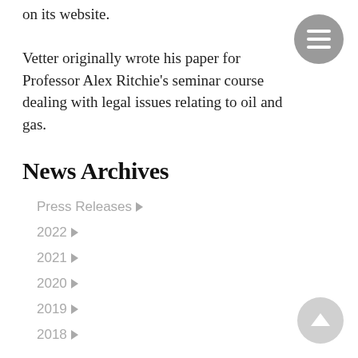on its website. Vetter originally wrote his paper for Professor Alex Ritchie's seminar course dealing with legal issues relating to oil and gas.
News Archives
Press Releases ▶
2022 ▶
2021 ▶
2020 ▶
2019 ▶
2018 ▶